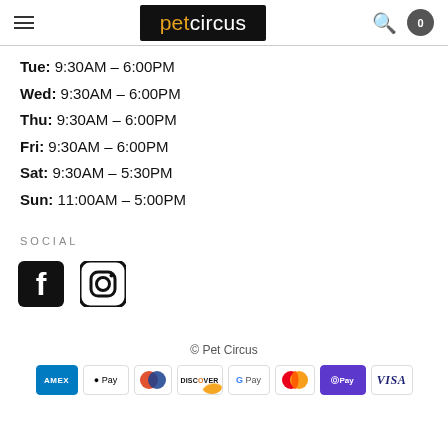petcircus — navigation header with hamburger menu, logo, search, and cart
Tue: 9:30AM – 6:00PM
Wed: 9:30AM – 6:00PM
Thu: 9:30AM – 6:00PM
Fri: 9:30AM – 6:00PM
Sat: 9:30AM – 5:30PM
Sun: 11:00AM – 5:00PM
SOCIAL
[Figure (logo): Facebook and Instagram social media icons]
© Pet Circus
[Figure (infographic): Payment method badges: AMEX, Apple Pay, Diners Club, Discover, Google Pay, Mastercard, Shop Pay, Visa]